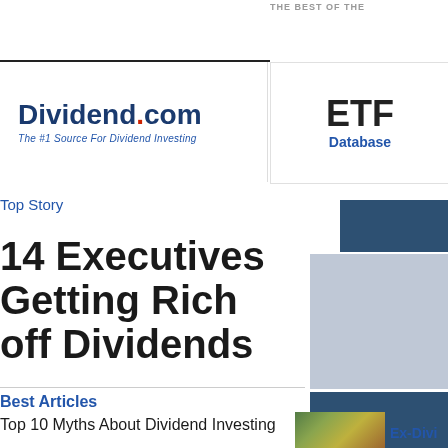THE BEST OF THE
[Figure (logo): Dividend.com logo — The #1 Source For Dividend Investing]
[Figure (logo): ETF Database logo]
Top Story
14 Executives Getting Rich off Dividends
Best Articles
Top 10 Myths About Dividend Investing
Ex-Divi…